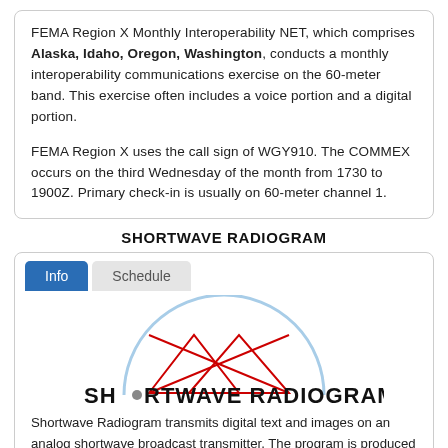FEMA Region X Monthly Interoperability NET, which comprises Alaska, Idaho, Oregon, Washington, conducts a monthly interoperability communications exercise on the 60-meter band. This exercise often includes a voice portion and a digital portion.

FEMA Region X uses the call sign of WGY910. The COMMEX occurs on the third Wednesday of the month from 1730 to 1900Z. Primary check-in is usually on 60-meter channel 1.
SHORTWAVE RADIOGRAM
[Figure (logo): Shortwave Radiogram logo: a semicircle arc in light blue with red mountain/triangle shapes inside, and bold text 'SHORTWAVE RADIOGRAM' below with a dot replacing the O in SHORTWAVE]
Shortwave Radiogram transmits digital text and images on an analog shortwave broadcast transmitter. The program is produced and presented by Dr. Kim Andrew Elliott KD9XB. Shortwave Radiogram continues VOA Radiogram's tradition